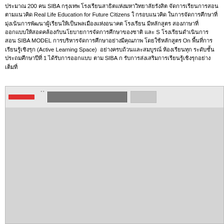ประมาณ 200 คน SIBA กรุงเทพ โรงเรียนสาธิตแห่งมหาวิทยาลัยรังสิต จัดการเรียนการสอนตามแนวคิด Real Life Education for Future Citizens ใ กรอบแนวคิด ในการจัดการศึกษาที่มุ่งเน้นการพัฒนาผู้เรียนให้เป็นพลเมืองแห่งอนาคต โรงเรียน มีหลักสูตร สองภาษาที่ออกแบบให้สอดคล้องกับนโยบายการจัดการศึกษาของชาติ และ S โรงเรียนดำเนินการสอน SIBA MODEL การบริหารจัดการศึกษาอย่างมีคุณภาพ โดยใช้หลักสูตร On พื้นที่การเรียนรู้เชิงรุก (Active Learning Space) อย่างครบถ้วนและสมบูรณ์ ห้องเรียนทุก ระดับชั้น ประถมศึกษาปีที่ 1 ได้รับการออกแบบ ตาม SIBA ก รับการส่งเสริมการเรียนรู้เชิงรุกอย่างเต็มที่
[Figure (screenshot): Screenshot of a document or presentation interface showing a toolbar/tab area with a red bar element and a dark striped/gradient bar, on a light gray background.]